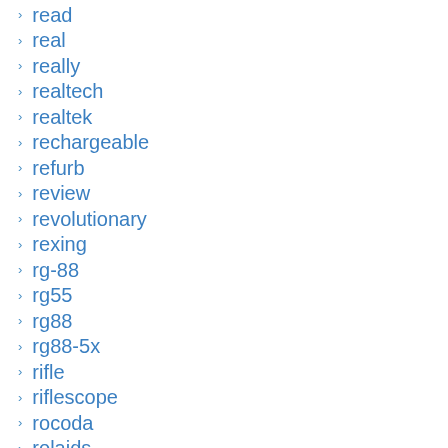read
real
really
realtech
realtek
rechargeable
refurb
review
revolutionary
rexing
rg-88
rg55
rg88
rg88-5x
rifle
riflescope
rocoda
rolaids